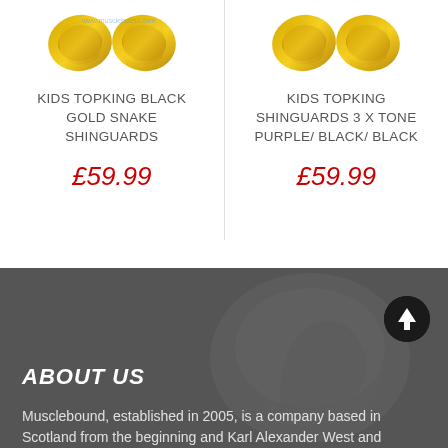[Figure (photo): Gold snake shin guards product image - Kids Topking Black Gold Snake Shinguards]
KIDS TOPKING BLACK GOLD SNAKE SHINGUARDS
£59.99
[Figure (photo): Kids Topking Shinguards 3 x Tone Purple/Black/Black product image]
KIDS TOPKING SHINGUARDS 3 X TONE PURPLE/ BLACK/ BLACK
£59.99
[Figure (illustration): Dark grey footer background with faded fist/logo watermark graphic and scroll-to-top arrow button]
ABOUT US
Musclebound, established in 2005, is a company based in Scotland from the beginning and Karl Alexander West and